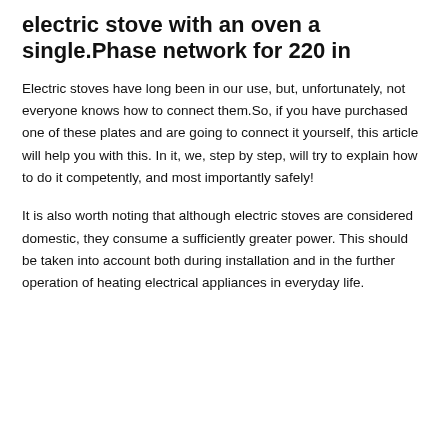electric stove with an oven a single.Phase network for 220 in
Electric stoves have long been in our use, but, unfortunately, not everyone knows how to connect them.So, if you have purchased one of these plates and are going to connect it yourself, this article will help you with this. In it, we, step by step, will try to explain how to do it competently, and most importantly safely!
It is also worth noting that although electric stoves are considered domestic, they consume a sufficiently greater power. This should be taken into account both during installation and in the further operation of heating electrical appliances in everyday life.